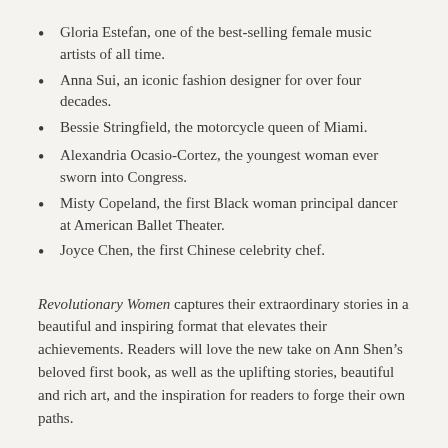Gloria Estefan, one of the best-selling female music artists of all time.
Anna Sui, an iconic fashion designer for over four decades.
Bessie Stringfield, the motorcycle queen of Miami.
Alexandria Ocasio-Cortez, the youngest woman ever sworn into Congress.
Misty Copeland, the first Black woman principal dancer at American Ballet Theater.
Joyce Chen, the first Chinese celebrity chef.
Revolutionary Women captures their extraordinary stories in a beautiful and inspiring format that elevates their achievements. Readers will love the new take on Ann Shen’s beloved first book, as well as the uplifting stories, beautiful and rich art, and the inspiration for readers to forge their own paths.